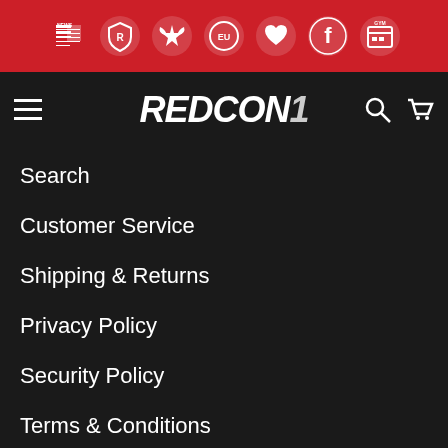[Figure (screenshot): Red top navigation bar with 7 white icon circles: news/paper icon, shield icon, eagle/star icon, EU circle, heart icon, Facebook icon, gym/calendar icon]
[Figure (logo): REDCON1 logo in bold white italic text with a slash mark, hamburger menu on left, search and cart icons on right]
Search
Customer Service
Shipping & Returns
Privacy Policy
Security Policy
Terms & Conditions
Copyright © 2022 Redcon1 LLC. All rights reserved